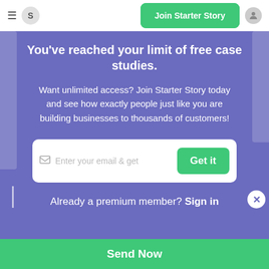≡  S  [Join Starter Story]  👤
You've reached your limit of free case studies.
Want unlimited access? Join Starter Story today and see how exactly people just like you are building businesses to thousands of customers!
✉ Enter your email & get  [Get it]
Already a premium member? Sign in
Send Now